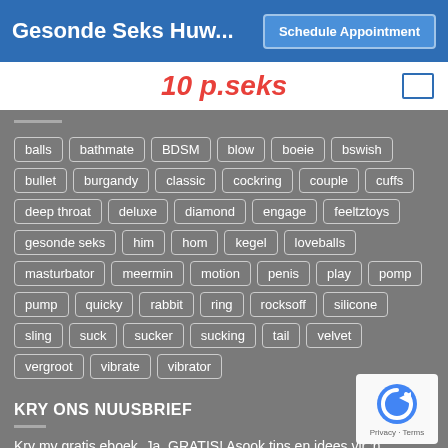Gesonde Seks Huw...
balls
bathmate
BDSM
blow
boeie
bswish
bullet
burgandy
classic
cockring
couple
cuffs
deep throat
deluxe
diamond
engage
feeltztoys
gesonde seks
him
hom
kegel
loveballs
masturbator
meermin
motion
penis
play
pomp
pump
quicky
rabbit
ring
rocksoff
silicone
sling
suck
sucker
sucking
tail
velvet
vergroot
vibrate
vibrator
KRY ONS NUUSBRIEF
Kry my gratis eboek. Ja, GRATIS! Asook tips en idees vir 'n